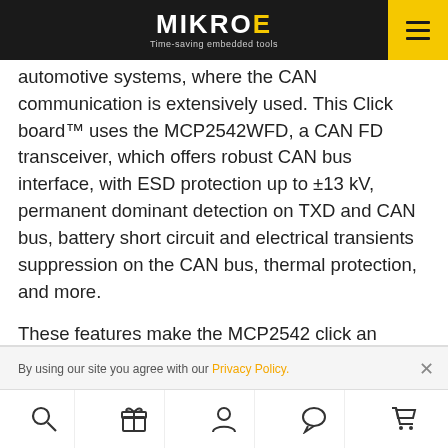MIKROE - Time-saving embedded tools
automotive systems, where the CAN communication is extensively used. This Click board™ uses the MCP2542WFD, a CAN FD transceiver, which offers robust CAN bus interface, with ESD protection up to ±13 kV, permanent dominant detection on TXD and CAN bus, battery short circuit and electrical transients suppression on the CAN bus, thermal protection, and more.

These features make the MCP2542 click an
By using our site you agree with our Privacy Policy.
Search | Gift | User | Chat | Cart